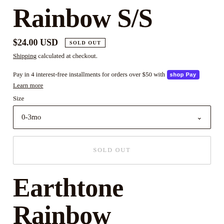Rainbow S/S
$24.00 USD  SOLD OUT
Shipping calculated at checkout.
Pay in 4 interest-free installments for orders over $50 with shop Pay
Learn more
Size
0-3mo
SOLD OUT
Earthtone Rainbow